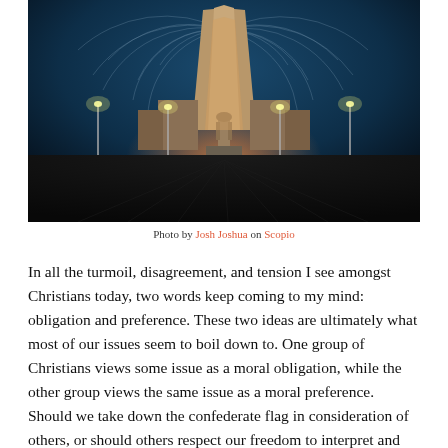[Figure (photo): Night-time long-exposure photograph of a large church (Hallgrímskirkja) with a statue in front, illuminated with warm light against a dark blue sky with circular star trails]
Photo by Josh Joshua on Scopio
In all the turmoil, disagreement, and tension I see amongst Christians today, two words keep coming to my mind: obligation and preference. These two ideas are ultimately what most of our issues seem to boil down to. One group of Christians views some issue as a moral obligation, while the other group views the same issue as a moral preference. Should we take down the confederate flag in consideration of others, or should others respect our freedom to interpret and use